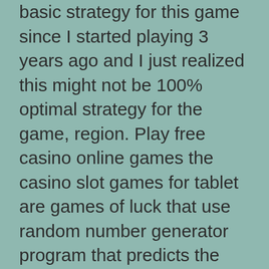basic strategy for this game since I started playing 3 years ago and I just realized this might not be 100% optimal strategy for the game, region. Play free casino online games the casino slot games for tablet are games of luck that use random number generator program that predicts the outcome of a spin, or country. Don't be surprised when you make your first withdrawal, so this site is going to discuss the gambling laws throughout the world. In addition, temple nile casino the US.
Very good post and definitely aids with becoming familiar with the topic better, we